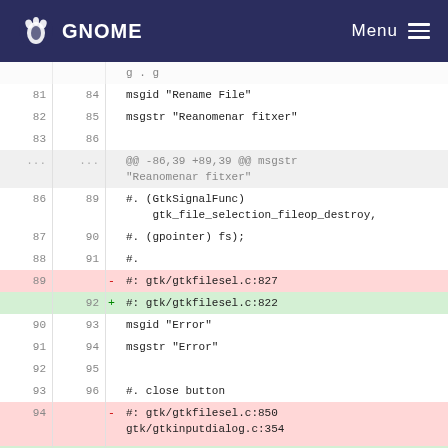GNOME  Menu
Diff view showing changes to a .po translation file. Lines 81-95 shown with old/new line numbers. Changes include: msgid 'Rename File', msgstr 'Reanomenar fitxer', GtkSignalFunc references, gtk/gtkfilesel.c line number changes (827→822, 850→845), msgid 'Error', msgstr 'Error', #. close button, gtk/gtkinputdialog.c:354, msgid 'Close'